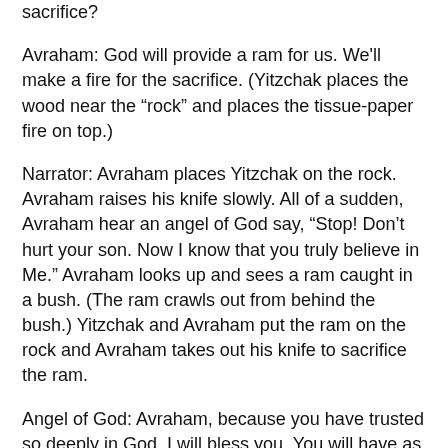sacrifice?
Avraham: God will provide a ram for us. We'll make a fire for the sacrifice. (Yitzchak places the wood near the “rock” and places the tissue-paper fire on top.)
Narrator: Avraham places Yitzchak on the rock. Avraham raises his knife slowly. All of a sudden, Avraham hear an angel of God say, “Stop! Don’t hurt your son. Now I know that you truly believe in Me.” Avraham looks up and sees a ram caught in a bush. (The ram crawls out from behind the bush.) Yitzchak and Avraham put the ram on the rock and Avraham takes out his knife to sacrifice the ram.
Angel of God: Avraham, because you have trusted so deeply in God, I will bless you. You will have as many descendants (children and